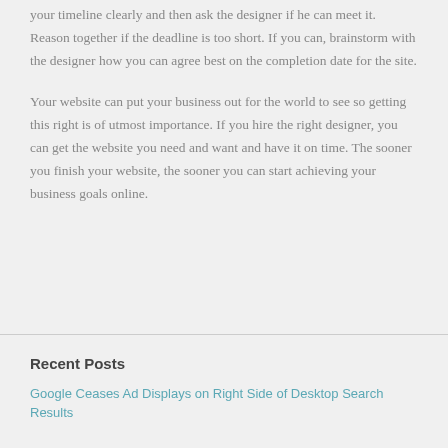your timeline clearly and then ask the designer if he can meet it. Reason together if the deadline is too short. If you can, brainstorm with the designer how you can agree best on the completion date for the site.
Your website can put your business out for the world to see so getting this right is of utmost importance. If you hire the right designer, you can get the website you need and want and have it on time. The sooner you finish your website, the sooner you can start achieving your business goals online.
Recent Posts
Google Ceases Ad Displays on Right Side of Desktop Search Results